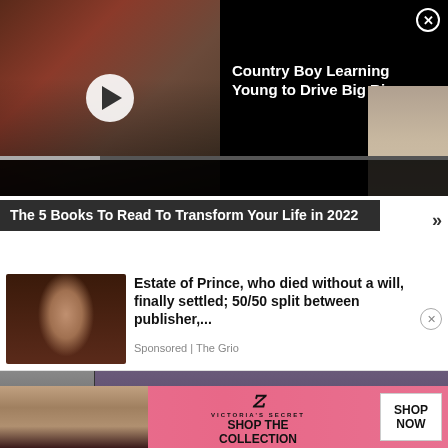[Figure (screenshot): Video player with thumbnail showing a street scene. Title overlay reads 'Country Boy Learning Young to Drive Big Rigs' with a close (X) button. Play button visible on thumbnail. Progress bar at bottom.]
The 5 Books To Read To Transform Your Life in 2022
[Figure (photo): Photo of Prince, the musician, looking directly at camera with a serious expression.]
Estate of Prince, who died without a will, finally settled; 50/50 split between publisher,...
Sponsored | The Grio
[Figure (screenshot): Victoria's Secret advertisement banner with pink background. Shows VS logo, 'SHOP THE COLLECTION' text and a 'SHOP NOW' white button. Left side shows a partial photo of a woman.]
Incurable Condition